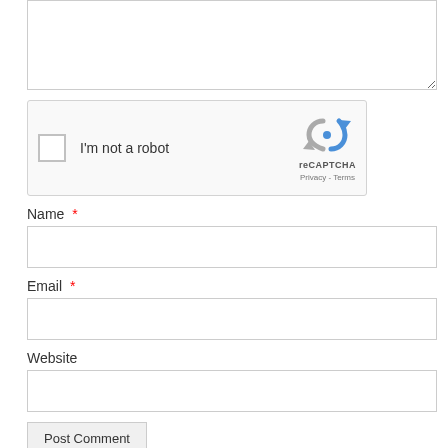[Figure (screenshot): Partially visible textarea input box at the top of a web comment form]
[Figure (screenshot): reCAPTCHA widget with checkbox labeled 'I'm not a robot', reCAPTCHA logo with arrows icon, 'reCAPTCHA' brand text, and 'Privacy - Terms' links]
Name *
[Figure (screenshot): Empty text input field for Name]
Email *
[Figure (screenshot): Empty text input field for Email]
Website
[Figure (screenshot): Empty text input field for Website]
[Figure (screenshot): Post Comment submit button]